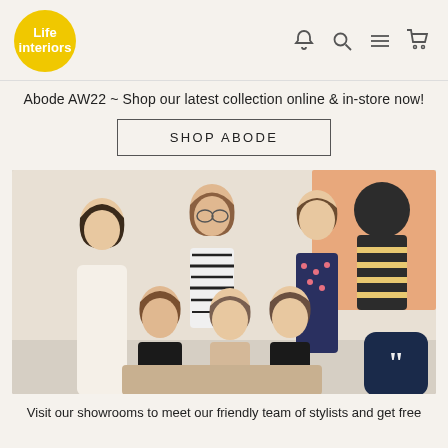[Figure (logo): Life Interiors logo — yellow circle with white text]
Abode AW22 ~ Shop our latest collection online & in-store now!
SHOP ABODE
[Figure (photo): Group photo of six team members (stylists) in a bright showroom setting with artwork on the wall behind them. A chat widget icon is overlaid in the bottom-right corner.]
Visit our showrooms to meet our friendly team of stylists and get free